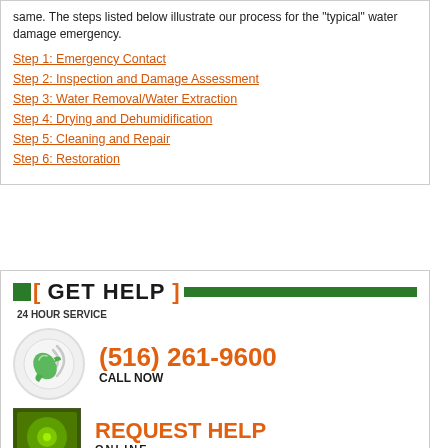same. The steps listed below illustrate our process for the “typical” water damage emergency.
Step 1: Emergency Contact
Step 2: Inspection and Damage Assessment
Step 3: Water Removal/Water Extraction
Step 4: Drying and Dehumidification
Step 5: Cleaning and Repair
Step 6: Restoration
[ GET HELP ] 24 HOUR SERVICE
[Figure (illustration): Green phone icon with signal waves in a circle]
(516) 261-9600 CALL NOW
[Figure (illustration): Green square icon for request help online]
REQUEST HELP ONLINE